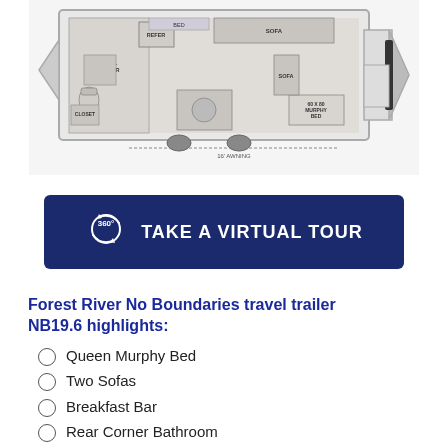[Figure (schematic): Floor plan schematic of Forest River No Boundaries NB19.6 travel trailer showing layout with Queen Murphy Bed, Two Sofas, Breakfast Bar, Rear Corner Bathroom with Shower, Closet, Refer, and 16' Awning label.]
[Figure (other): Dark navy blue button with 360 degree icon and text 'TAKE A VIRTUAL TOUR']
Forest River No Boundaries travel trailer NB19.6 highlights:
Queen Murphy Bed
Two Sofas
Breakfast Bar
Rear Corner Bathroom